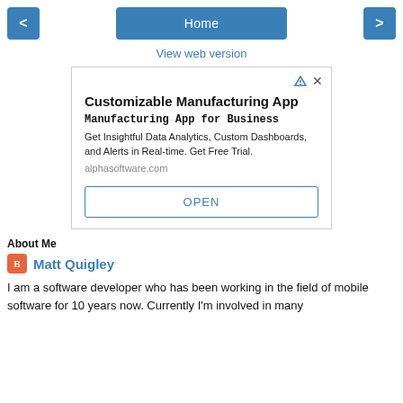< Home >
View web version
[Figure (screenshot): Advertisement for Customizable Manufacturing App by alphasoftware.com with OPEN button]
About Me
Matt Quigley
I am a software developer who has been working in the field of mobile software for 10 years now. Currently I'm involved in many